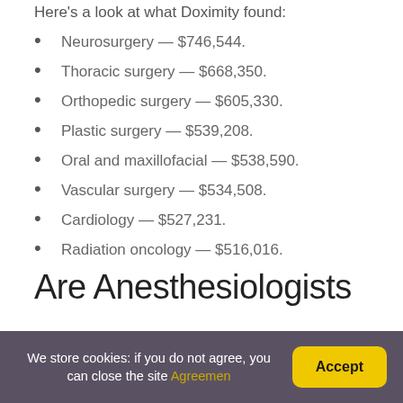Here's a look at what Doximity found:
Neurosurgery — $746,544.
Thoracic surgery — $668,350.
Orthopedic surgery — $605,330.
Plastic surgery — $539,208.
Oral and maxillofacial — $538,590.
Vascular surgery — $534,508.
Cardiology — $527,231.
Radiation oncology — $516,016.
Are Anesthesiologists
We store cookies: if you do not agree, you can close the site Agreemen
Accept